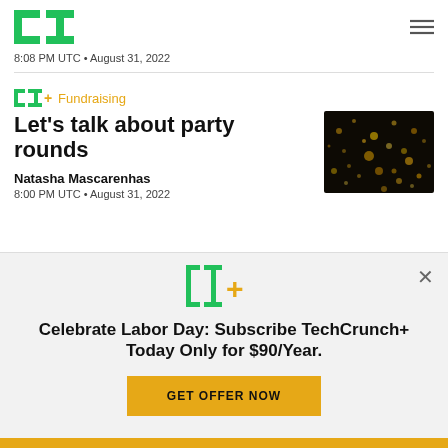TechCrunch logo and navigation
8:08 PM UTC • August 31, 2022
Let's talk about party rounds
Fundraising
Natasha Mascarenhas
8:00 PM UTC • August 31, 2022
[Figure (photo): Dark golden bokeh/sparkle background image]
Celebrate Labor Day: Subscribe TechCrunch+ Today Only for $90/Year.
GET OFFER NOW